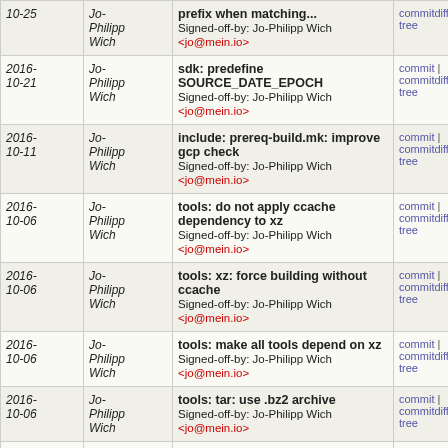| Date | Author | Commit message | Links |
| --- | --- | --- | --- |
| 2016-10-25 | Jo-Philipp Wich | prefix when matching...
Signed-off-by: Jo-Philipp Wich <jo@mein.io> | commitdiff | tree |
| 2016-10-21 | Jo-Philipp Wich | sdk: predefine SOURCE_DATE_EPOCH
Signed-off-by: Jo-Philipp Wich <jo@mein.io> | commit | commitdiff | tree |
| 2016-10-11 | Jo-Philipp Wich | include: prereq-build.mk: improve gcp check
Signed-off-by: Jo-Philipp Wich <jo@mein.io> | commit | commitdiff | tree |
| 2016-10-06 | Jo-Philipp Wich | tools: do not apply ccache dependency to xz
Signed-off-by: Jo-Philipp Wich <jo@mein.io> | commit | commitdiff | tree |
| 2016-10-06 | Jo-Philipp Wich | tools: xz: force building without ccache
Signed-off-by: Jo-Philipp Wich <jo@mein.io> | commit | commitdiff | tree |
| 2016-10-06 | Jo-Philipp Wich | tools: make all tools depend on xz
Signed-off-by: Jo-Philipp Wich <jo@mein.io> | commit | commitdiff | tree |
| 2016-10-06 | Jo-Philipp Wich | tools: tar: use .bz2 archive
Signed-off-by: Jo-Philipp Wich <jo@mein.io> | commit | commitdiff | tree |
| 2016-10-06 | Jo-Philipp Wich | tools: xz: use .bz2 archive
Signed-off-by: Jo-Philipp Wich <jo@mein.io> | commit | commitdiff | tree |